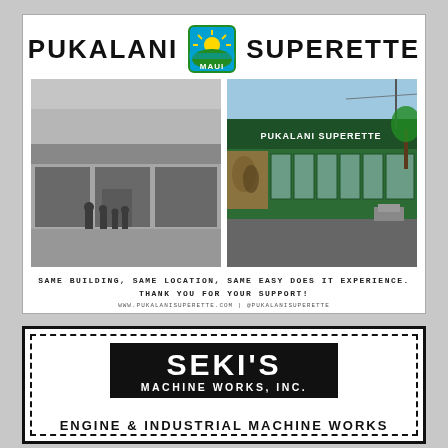[Figure (illustration): Pukalani Superette advertisement showing logo with Maui badge, two photos of the store (black and white historic photo on left, color current photo on right), tagline text, and website/social media handles.]
SAME BUILDING, SAME LOCATION, SAME EASY DOES IT EXPERIENCE. THANK YOU FOR YOUR SUPPORT!
WWW.PUKALANISUPERETTE.COM | @PUKALANISUPERETTE
[Figure (logo): Seki's Machine Works, Inc. advertisement with dashed border, black logo box with white text reading SEKI'S MACHINE WORKS, INC., and text ENGINE & INDUSTRIAL MACHINE WORKS below.]